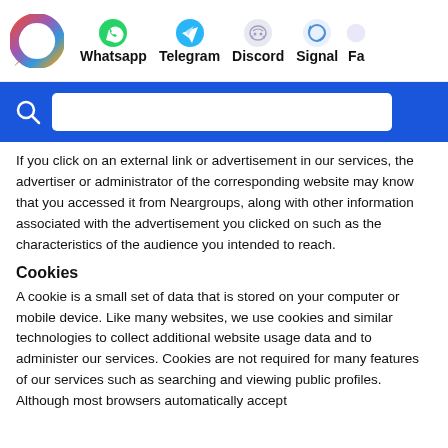Neargroups logo | Whatsapp | Telegram | Discord | Signal | Fa...
[Figure (screenshot): Website navigation header with Neargroups logo and messaging app icons: Whatsapp, Telegram, Discord, Signal, and partially visible app]
[Figure (screenshot): Blue search bar with magnifying glass icon and white search input box]
If you click on an external link or advertisement in our services, the advertiser or administrator of the corresponding website may know that you accessed it from Neargroups, along with other information associated with the advertisement you clicked on such as the characteristics of the audience you intended to reach.
Cookies
A cookie is a small set of data that is stored on your computer or mobile device. Like many websites, we use cookies and similar technologies to collect additional website usage data and to administer our services. Cookies are not required for many features of our services such as searching and viewing public profiles. Although most browsers automatically accept